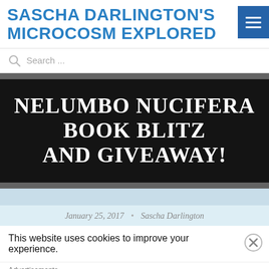SASCHA DARLINGTON'S MICROCOSM EXPLORED
Search ...
[Figure (other): Dark banner with bold serif white text reading NELUMBO NUCIFERA BOOK BLITZ AND GIVEAWAY!]
January 25, 2017 • Sascha Darlington
This website uses cookies to improve your experience.
Advertisements
Build a writing habit. Post on the go. GET THE APP